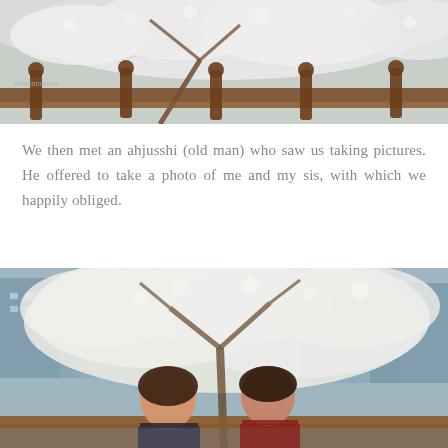[Figure (photo): Cherry blossom tree in full bloom with wooden railing/fence visible, white flowers covering branches, overcast sky. Watermark text visible in lower left.]
We then met an ahjusshi (old man) who saw us taking pictures. He offered to take a photo of me and my sis, with which we happily obliged.
[Figure (photo): Two young women smiling and posing together in front of cherry blossom trees in full bloom. City buildings visible in background. Wooden railing in foreground.]